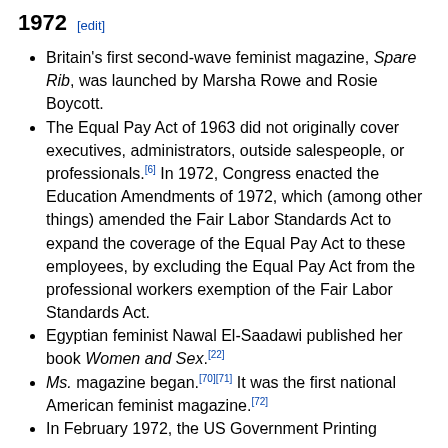1972 [edit]
Britain's first second-wave feminist magazine, Spare Rib, was launched by Marsha Rowe and Rosie Boycott.
The Equal Pay Act of 1963 did not originally cover executives, administrators, outside salespeople, or professionals.[6] In 1972, Congress enacted the Education Amendments of 1972, which (among other things) amended the Fair Labor Standards Act to expand the coverage of the Equal Pay Act to these employees, by excluding the Equal Pay Act from the professional workers exemption of the Fair Labor Standards Act.
Egyptian feminist Nawal El-Saadawi published her book Women and Sex.[22]
Ms. magazine began.[70][71] It was the first national American feminist magazine.[72]
In February 1972, the US Government Printing